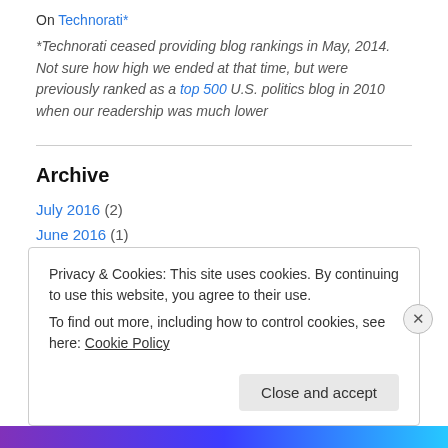On Technorati*
*Technorati ceased providing blog rankings in May, 2014. Not sure how high we ended at that time, but were previously ranked as a top 500 U.S. politics blog in 2010 when our readership was much lower
Archive
July 2016 (2)
June 2016 (1)
May 2016 (3)
April 2016 (6)
Privacy & Cookies: This site uses cookies. By continuing to use this website, you agree to their use.
To find out more, including how to control cookies, see here: Cookie Policy
Close and accept